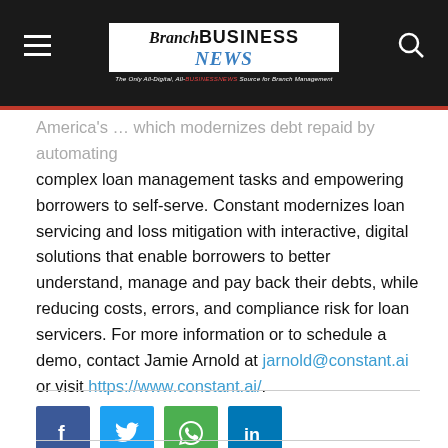Branch BUSINESS NEWS — The Only All-Digital, All-BUSINESS NEWS Source for Branch Management
America's … which modernizes debt repaid by automating complex loan management tasks and empowering borrowers to self-serve. Constant modernizes loan servicing and loss mitigation with interactive, digital solutions that enable borrowers to better understand, manage and pay back their debts, while reducing costs, errors, and compliance risk for loan servicers. For more information or to schedule a demo, contact Jamie Arnold at jarnold@constant.ai or visit https://www.constant.ai/.